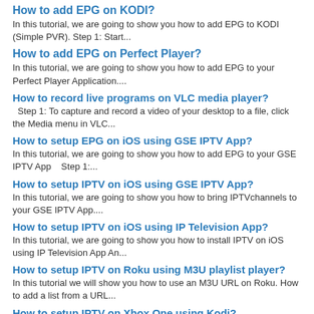How to add EPG on KODI?
In this tutorial, we are going to show you how to add EPG to KODI (Simple PVR). Step 1: Start...
How to add EPG on Perfect Player?
In this tutorial, we are going to show you how to add EPG to your Perfect Player Application....
How to record live programs on VLC media player?
Step 1: To capture and record a video of your desktop to a file, click the Media menu in VLC...
How to setup EPG on iOS using GSE IPTV App?
In this tutorial, we are going to show you how to add EPG to your GSE IPTV App    Step 1:...
How to setup IPTV on iOS using GSE IPTV App?
In this tutorial, we are going to show you how to bring IPTVchannels to your GSE IPTV App....
How to setup IPTV on iOS using IP Television App?
In this tutorial, we are going to show you how to install IPTV on iOS using IP Television App An...
How to setup IPTV on Roku using M3U playlist player?
In this tutorial we will show you how to use an M3U URL on Roku. How to add a list from a URL...
How to setup IPTV on Xbox One using Kodi?